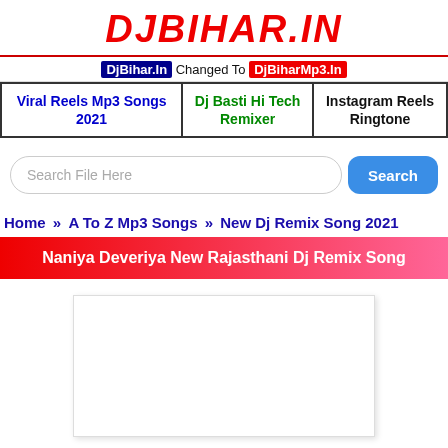DjBihar.In
DjBihar.In Changed To DjBiharMp3.In
| Viral Reels Mp3 Songs 2021 | Dj Basti Hi Tech Remixer | Instagram Reels Ringtone |
Search File Here
Home » A To Z Mp3 Songs » New Dj Remix Song 2021
Naniya Deveriya New Rajasthani Dj Remix Song
[Figure (other): White image/content placeholder box]